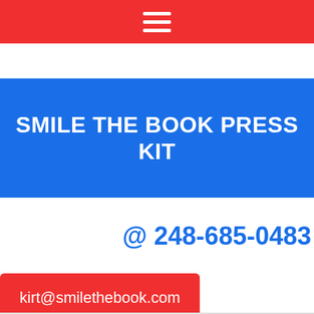≡
SMILE THE BOOK PRESS KIT
@ 248-685-0483
kirt@smilethebook.com